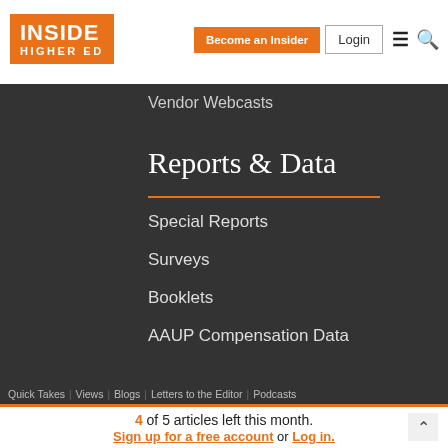[Figure (logo): Inside Higher Ed logo — orange rectangle with white bold text INSIDE and HIGHER ED]
Become an Insider
Login
Vendor Webcasts
Reports & Data
Special Reports
Surveys
Booklets
AAUP Compensation Data
Quick Takes | Views | Blogs | Letters to the Editor | Podcasts
4 of 5 articles left this month. Sign up for a free account or Log in.